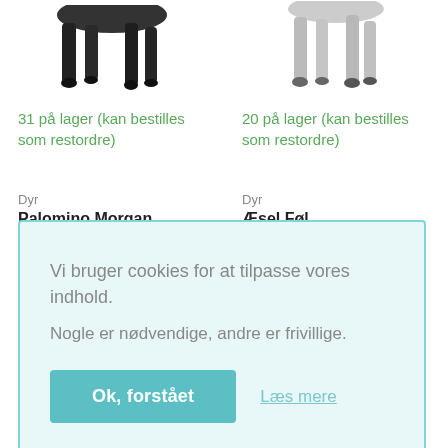[Figure (illustration): Partial view of a dark-colored horse figurine legs from above, cropped at top]
[Figure (illustration): Partial view of a grey horse figurine legs from above, cropped at top]
31 på lager (kan bestilles som restordre)
20 på lager (kan bestilles som restordre)
Dyr
Dyr
Palomino Morgan
Æsel Føl
Vi bruger cookies for at tilpasse vores indhold.
Nogle er nødvendige, andre er frivillige.
Ok, forstået
Læs mere
[Figure (illustration): Partial view of a giraffe figurine, visible from neck/body, cropped at bottom]
[Figure (illustration): Partial view of a dark brown horse figurine from behind, cropped at bottom]